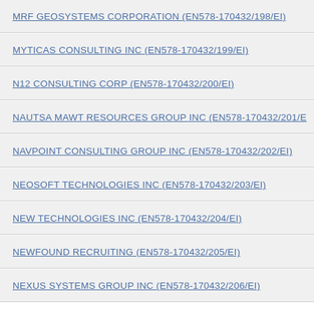MRF GEOSYSTEMS CORPORATION (EN578-170432/198/EI)
MYTICAS CONSULTING INC (EN578-170432/199/EI)
N12 CONSULTING CORP (EN578-170432/200/EI)
NAUTSA MAWT RESOURCES GROUP INC (EN578-170432/201/EI)
NAVPOINT CONSULTING GROUP INC (EN578-170432/202/EI)
NEOSOFT TECHNOLOGIES INC (EN578-170432/203/EI)
NEW TECHNOLOGIES INC (EN578-170432/204/EI)
NEWFOUND RECRUITING (EN578-170432/205/EI)
NEXUS SYSTEMS GROUP INC (EN578-170432/206/EI)